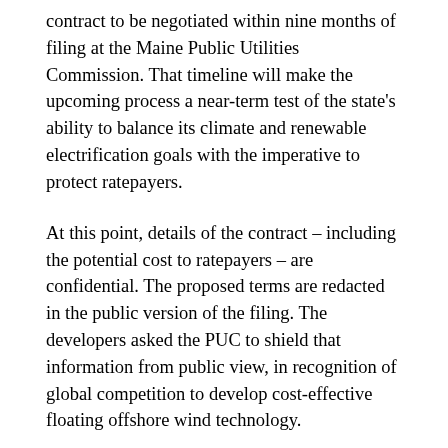contract to be negotiated within nine months of filing at the Maine Public Utilities Commission. That timeline will make the upcoming process a near-term test of the state's ability to balance its climate and renewable electrification goals with the imperative to protect ratepayers.
At this point, details of the contract – including the potential cost to ratepayers – are confidential. The proposed terms are redacted in the public version of the filing. The developers asked the PUC to shield that information from public view, in recognition of global competition to develop cost-effective floating offshore wind technology.
The agency agreed to honor the request, which is common practice to protect proprietary information and intellectual property. But the protective order is temporary, according to Susan Faloon, the PUC's spokeswoman. Once the proposal is filed, the agency can determine whether any protected information can be